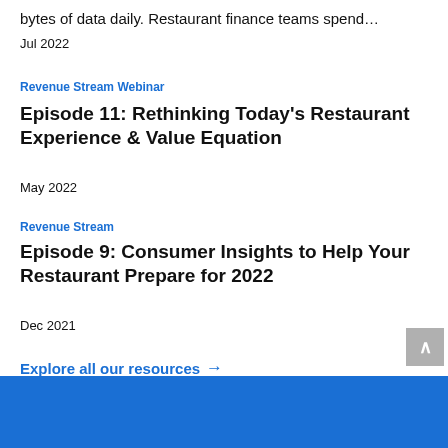bytes of data daily. Restaurant finance teams spend…
Jul 2022
Revenue Stream Webinar
Episode 11: Rethinking Today's Restaurant Experience & Value Equation
May 2022
Revenue Stream
Episode 9: Consumer Insights to Help Your Restaurant Prepare for 2022
Dec 2021
Explore all our resources →